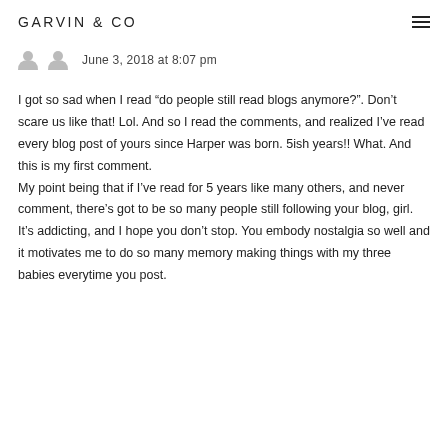GARVIN & CO
June 3, 2018 at 8:07 pm
I got so sad when I read “do people still read blogs anymore?”. Don’t scare us like that! Lol. And so I read the comments, and realized I’ve read every blog post of yours since Harper was born. 5ish years!! What. And this is my first comment.
My point being that if I’ve read for 5 years like many others, and never comment, there’s got to be so many people still following your blog, girl. It’s addicting, and I hope you don’t stop. You embody nostalgia so well and it motivates me to do so many memory making things with my three babies everytime you post.